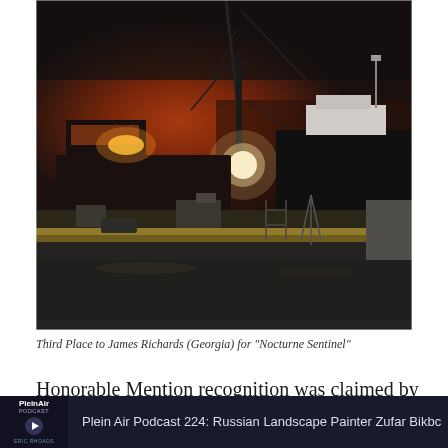[Figure (illustration): Oil painting of a nocturne harbor scene at night. Large dark ships and a crane are illuminated against a dramatic orange-red sky. Dock equipment and vehicles visible in the foreground on a wet road.]
Third Place to James Richards (Georgia) for "Nocturne Sentinel"
Honorable Mention recognition was claimed by both Terry
Plein Air Podcast 224: Russian Landscape Painter Zufar Bikbo